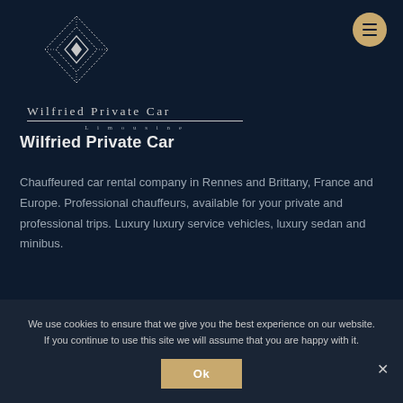[Figure (logo): Wilfried Private Car geometric diamond logo with nested diamond shapes made of dotted lines, followed by brand name 'Wilfried Private Car' and subtitle 'Limousine']
Wilfried Private Car
Chauffeured car rental company in Rennes and Brittany, France and Europe. Professional chauffeurs, available for your private and professional trips. Luxury luxury service vehicles, luxury sedan and minibus.
We use cookies to ensure that we give you the best experience on our website. If you continue to use this site we will assume that you are happy with it.